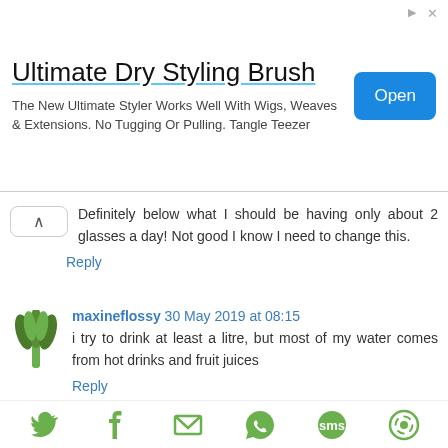[Figure (screenshot): Ad banner for Ultimate Dry Styling Brush with Open button]
Definitely below what I should be having only about 2 glasses a day! Not good I know I need to change this.
Reply
maxineflossy 30 May 2019 at 08:15
i try to drink at least a litre, but most of my water comes from hot drinks and fruit juices
Reply
Ms C Bryan 30 May 2019 at 09:08
About 1 to 1.5 litres
[Figure (infographic): Social sharing icons: Twitter, Facebook, Email, WhatsApp, SMS, another share icon — all in green]